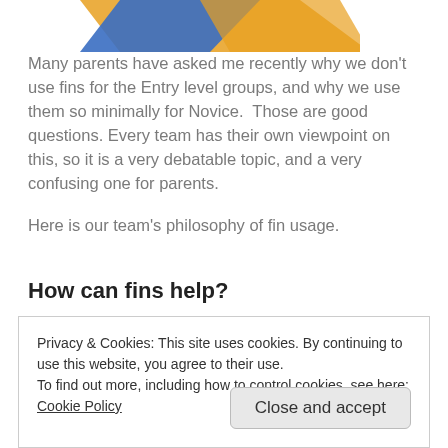[Figure (illustration): Partial view of colored fins or equipment pieces in blue and orange/yellow, cropped at top of page]
Many parents have asked me recently why we don't use fins for the Entry level groups, and why we use them so minimally for Novice.  Those are good questions. Every team has their own viewpoint on this, so it is a very debatable topic, and a very confusing one for parents.
Here is our team's philosophy of fin usage.
How can fins help?
Privacy & Cookies: This site uses cookies. By continuing to use this website, you agree to their use.
To find out more, including how to control cookies, see here: Cookie Policy
Close and accept